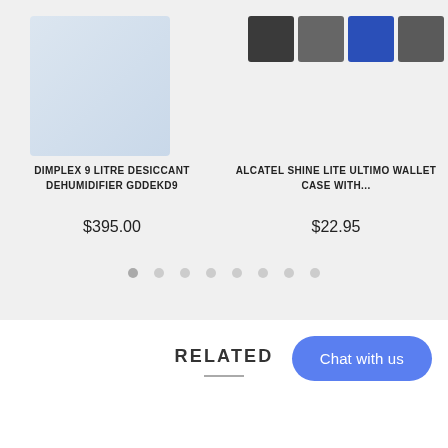[Figure (photo): Product thumbnail: Dimplex 9 Litre Desiccant Dehumidifier, light blue/grey square product image]
[Figure (photo): Product thumbnail row: Alcatel Shine Lite Ultimo Wallet Case, four small thumbnail images showing different colors (black, blue, grey variants)]
DIMPLEX 9 LITRE DESICCANT DEHUMIDIFIER GDDEKD9
$395.00
ALCATEL SHINE LITE ULTIMO WALLET CASE WITH...
$22.95
RELATED
Chat with us